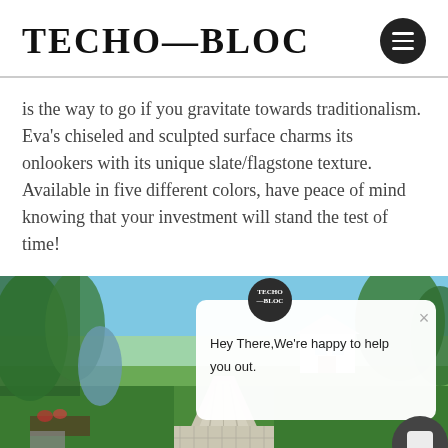TECHO—BLOC
is the way to go if you gravitate towards traditionalism. Eva's chiseled and sculpted surface charms its onlookers with its unique slate/flagstone texture. Available in five different colors, have peace of mind knowing that your investment will stand the test of time!
[Figure (photo): Outdoor driveway paved with Techo-Bloc stones, surrounded by lush green trees and lawn, suburban home in background. A chat popup overlay shows the Techo-Bloc logo and the text 'Hey There, We're happy to help you out.' with a close button.]